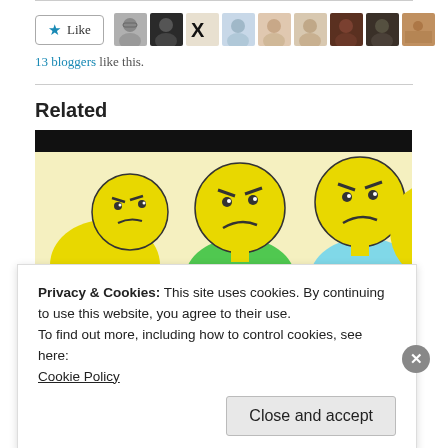[Figure (other): Like button with star icon and row of blogger avatar profile photos]
13 bloggers like this.
Related
[Figure (illustration): Cartoon illustration of three angry yellow round-headed figures with frowning expressions, wearing colored shirts, on a light yellow background with a black bar at top]
Privacy & Cookies: This site uses cookies. By continuing to use this website, you agree to their use.
To find out more, including how to control cookies, see here:
Cookie Policy
Close and accept